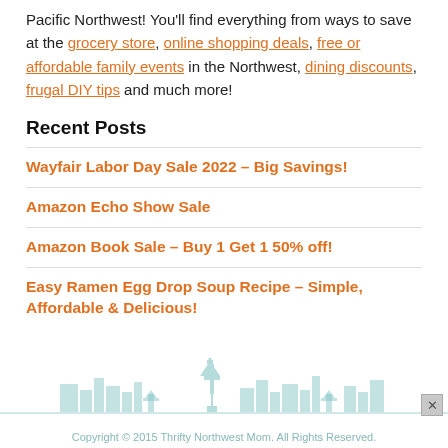Pacific Northwest! You'll find everything from ways to save at the grocery store, online shopping deals, free or affordable family events in the Northwest, dining discounts, frugal DIY tips and much more!
Recent Posts
Wayfair Labor Day Sale 2022 – Big Savings!
Amazon Echo Show Sale
Amazon Book Sale – Buy 1 Get 1 50% off!
Easy Ramen Egg Drop Soup Recipe – Simple, Affordable & Delicious!
Copyright © 2015 Thrifty Northwest Mom. All Rights Reserved.